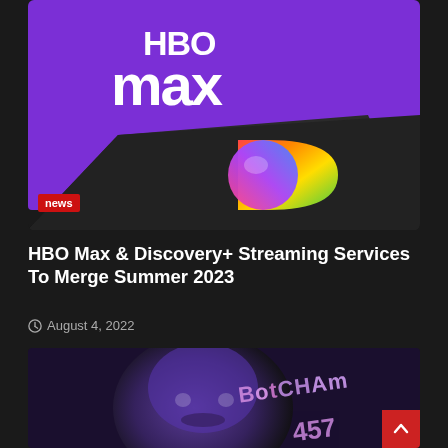[Figure (photo): HBO Max and Discovery+ logos on cards – HBO Max logo white text on purple background, Discovery+ colorful circle logo on dark card]
HBO Max & Discovery+ Streaming Services To Merge Summer 2023
August 4, 2022
[Figure (photo): Dark purple-tinted photo of a man's face with text overlaid reading 'BotCham 457']